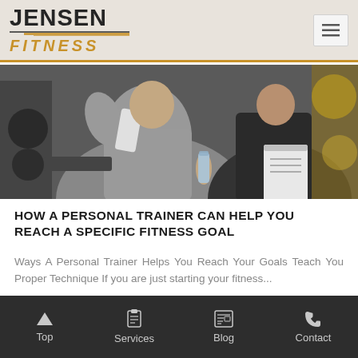[Figure (logo): Jensen Fitness logo with bold JENSEN text and italic gold FITNESS text with speed lines]
[Figure (photo): Gym scene showing overweight person with towel and water bottle being assisted by a trainer with a clipboard]
HOW A PERSONAL TRAINER CAN HELP YOU REACH A SPECIFIC FITNESS GOAL
Ways A Personal Trainer Helps You Reach Your Goals Teach You Proper Technique If you are just starting your fitness...
[Figure (photo): Partial view of second article image showing Jensen logo overlay on gym background]
Top   Services   Blog   Contact